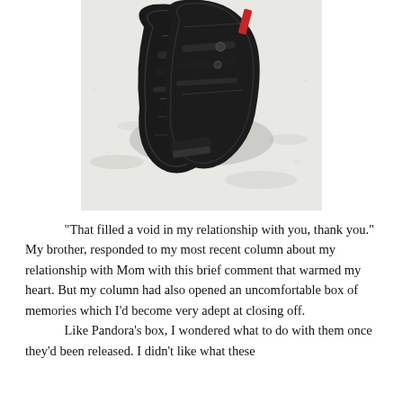[Figure (photo): Close-up photo of black snowshoes with red accents lying on bright white snow, viewed from above at an angle.]
“That filled a void in my relationship with you, thank you.” My brother, responded to my most recent column about my relationship with Mom with this brief comment that warmed my heart. But my column had also opened an uncomfortable box of memories which I’d become very adept at closing off.
 Like Pandora’s box, I wondered what to do with them once they’d been released. I didn’t like what these